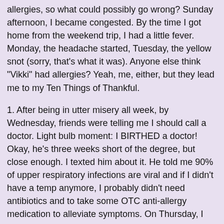allergies, so what could possibly go wrong? Sunday afternoon, I became congested. By the time I got home from the weekend trip, I had a little fever. Monday, the headache started, Tuesday, the yellow snot (sorry, that's what it was). Anyone else think "Vikki" had allergies? Yeah, me, either, but they lead me to my Ten Things of Thankful.
1. After being in utter misery all week, by Wednesday, friends were telling me I should call a doctor. Light bulb moment: I BIRTHED a doctor! Okay, he's three weeks short of the degree, but close enough. I texted him about it. He told me 90% of upper respiratory infections are viral and if I didn't have a temp anymore, I probably didn't need antibiotics and to take some OTC anti-allergy medication to alleviate symptoms. On Thursday, I got an electric jolt in my upper teeth if I bent over, my face hurt to touch it, and I was having, shall we say, very productive episodes of nose blowing. I didn't want to go to the Urgent Care if I could avoid it, because Covid, but I remembered (another light bulb moment) my insurance company has a Telemed option. Registered on-line, got a phone call within five minutes, had a doctor confirm what I already knew, and got a prescription for an antibiotic for my bouncing baby sinus infection. Boom!